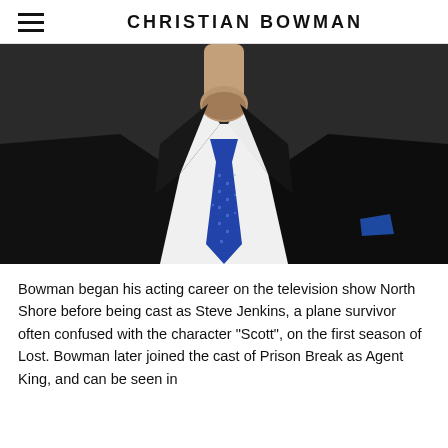CHRISTIAN BOWMAN
[Figure (photo): Close-up photo of a man in a black suit with white shirt and blue patterned tie, cropped from chest to chin showing a beard, photographed against a dark gray background.]
Bowman began his acting career on the television show North Shore before being cast as Steve Jenkins, a plane survivor often confused with the character "Scott", on the first season of Lost. Bowman later joined the cast of Prison Break as Agent King, and can be seen in